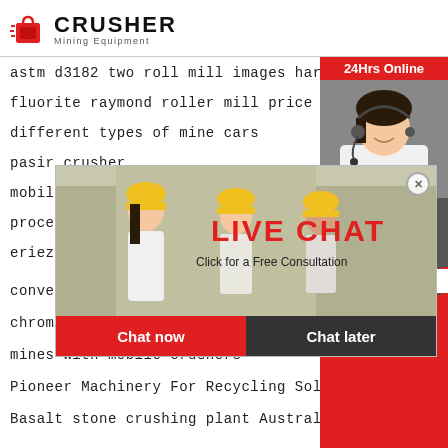[Figure (logo): Crusher Mining Equipment logo — red shopping bag icon with speed lines, bold CRUSHER text, Mining Equipment subtitle]
astm d3182 two roll mill images harg
fluorite raymond roller mill price
different types of mine cars
pasir crusher
mobile crush
processing o
eriez flotatio
conveyor belt lagging
chromite ore chrome ore
mines with mobile crushers
Pioneer Machinery For Recycling Solid Waste
Basalt stone crushing plant Australia
[Figure (screenshot): Live chat popup with workers in hard hats background, LIVE CHAT text in red, Click for a Free Consultation, Chat now (red) and Chat later (dark) buttons]
[Figure (infographic): Right sidebar with 24Hrs Online header, female customer service agent with headset, Need questions & suggestion? text, Chat Now red oval button, Enquiry section, limingjlmofen@sina.com email]